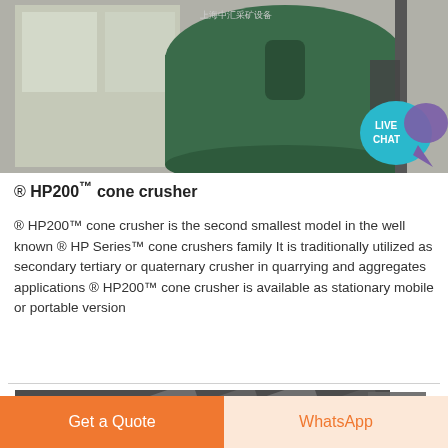[Figure (photo): Industrial green cone crusher equipment in a factory setting]
[Figure (infographic): Live Chat bubble icon — teal circle with speech bubble and text LIVE CHAT]
® HP200™ cone crusher
® HP200™ cone crusher is the second smallest model in the well known ® HP Series™ cone crushers family It is traditionally utilized as secondary tertiary or quaternary crusher in quarrying and aggregates applications ® HP200™ cone crusher is available as stationary mobile or portable version
[Figure (photo): Partial view of industrial machinery or equipment, black and white tones]
Get a Quote
WhatsApp